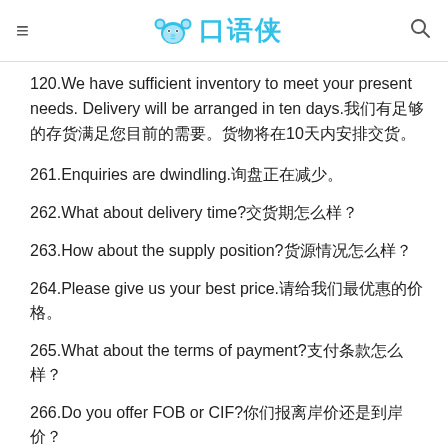口语侠
120.We have sufficient inventory to meet your present needs. Delivery will be arranged in ten days.我们有足够的存货满足您目前的需要。货物将在10天内安排交货。
261.Enquiries are dwindling.询盘正在减少。
262.What about delivery time?交货期怎么样？
263.How about the supply position?货源情况怎么样？
264.Please give us your best price.请给我们最优惠的价格。
265.What about the terms of payment?支付条款怎么样？
266.Do you offer FOB or CIF?你们报离岸价还是到岸价？
267.Can you quote a CIF price for me?你能给我报一个到岸价吗？